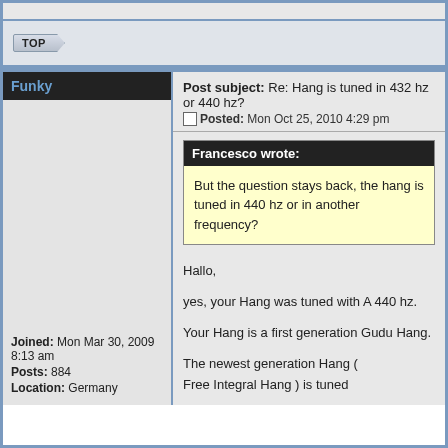TOP
Funky
Post subject: Re: Hang is tuned in 432 hz or 440 hz?
Posted: Mon Oct 25, 2010 4:29 pm
Francesco wrote:
But the question stays back, the hang is tuned in 440 hz or in another frequency?
Joined: Mon Mar 30, 2009 8:13 am
Posts: 884
Location: Germany
Hallo,

yes, your Hang was tuned with A 440 hz.

Your Hang is a first generation Gudu Hang.

The newest generation Hang ( Free Integral Hang ) is tuned